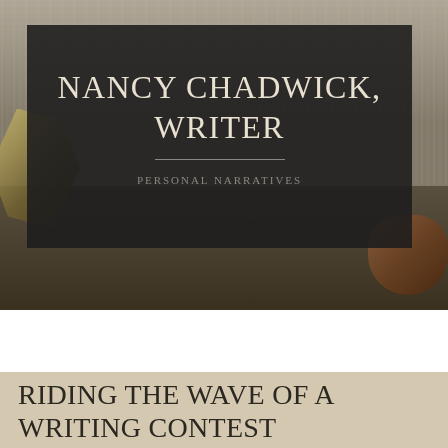[Figure (photo): Background photo of wooden planks and leaves/bark in muted earthy tones]
NANCY CHADWICK, WRITER
PERSONAL NARRATIVES
[Figure (other): Navigation bar with hamburger menu icon and search icon on dark background]
RIDING THE WAVE OF A WRITING CONTEST